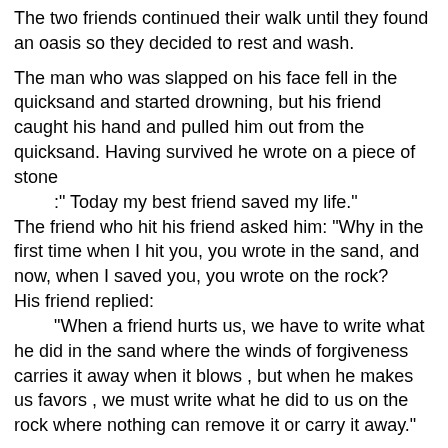The two friends continued their walk until they found an oasis so they decided to rest and wash.

The man who was slapped on his face fell in the quicksand and started drowning, but his friend caught his hand and pulled him out from the quicksand. Having survived he wrote on a piece of stone
        :" Today my best friend saved my life."
The friend who hit his friend asked him: "Why in the first time when I hit you, you wrote in the sand, and now, when I saved you, you wrote on the rock?
His friend replied:
        "When a friend hurts us, we have to write what he did in the sand where the winds of forgiveness carries it away when it blows , but when he makes us favors , we must write what he did to us on the rock where nothing can remove it or carry it away."